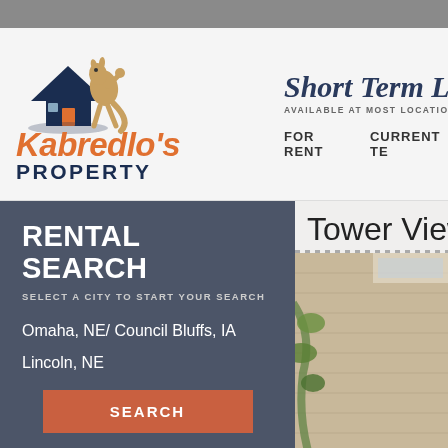[Figure (logo): Kabredlo's Property logo with kangaroo mascot and house icon]
Short Term Leas
AVAILABLE AT MOST LOCATION
FOR RENT
CURRENT TE
RENTAL SEARCH
SELECT A CITY TO START YOUR SEARCH
Omaha, NE/ Council Bluffs, IA
Lincoln, NE
SEARCH
Tower View
[Figure (photo): Exterior photo of Tower View property building]